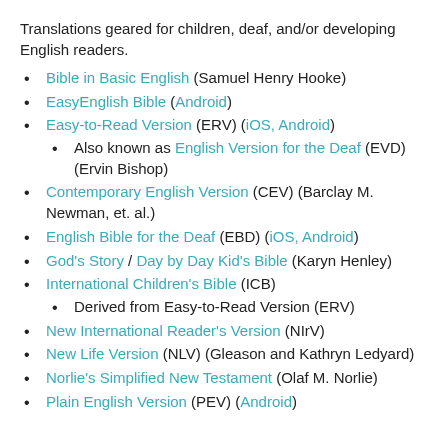Translations geared for children, deaf, and/or developing English readers.
Bible in Basic English (Samuel Henry Hooke)
EasyEnglish Bible (Android)
Easy-to-Read Version (ERV) (iOS, Android)
Also known as English Version for the Deaf (EVD) (Ervin Bishop)
Contemporary English Version (CEV) (Barclay M. Newman, et. al.)
English Bible for the Deaf (EBD) (iOS, Android)
God's Story / Day by Day Kid's Bible (Karyn Henley)
International Children's Bible (ICB)
Derived from Easy-to-Read Version (ERV)
New International Reader's Version (NIrV)
New Life Version (NLV) (Gleason and Kathryn Ledyard)
Norlie's Simplified New Testament (Olaf M. Norlie)
Plain English Version (PEV) (Android)